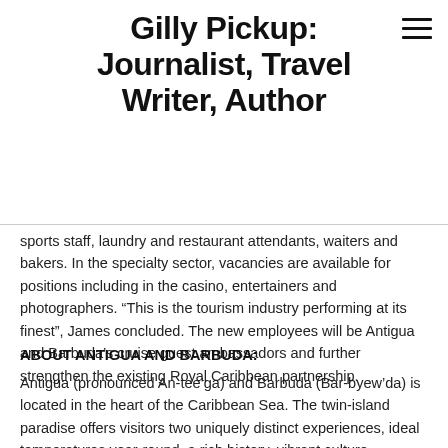Gilly Pickup: Journalist, Travel Writer, Author
sports staff, laundry and restaurant attendants, waiters and bakers. In the specialty sector, vacancies are available for positions including in the casino, entertainers and photographers. “This is the tourism industry performing at its finest”, James concluded. The new employees will be Antigua and Barbuda’s cruise guest ambassadors and further strengthen the existing Royal Caribbean partnership.
ABOUT ANTIGUA AND BARBUDA:
Antigua (pronounced An-tee’ga) and Barbuda (Bar-byew’da) is located in the heart of the Caribbean Sea. The twin-island paradise offers visitors two uniquely distinct experiences, ideal temperatures year-round, a rich history, vibrant culture, exhilarating excursions, award